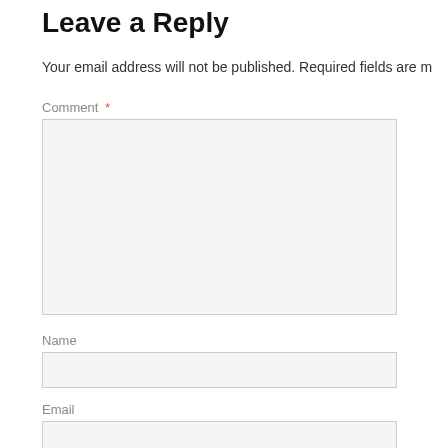Leave a Reply
Your email address will not be published. Required fields are m
Comment *
Name
Email
Website